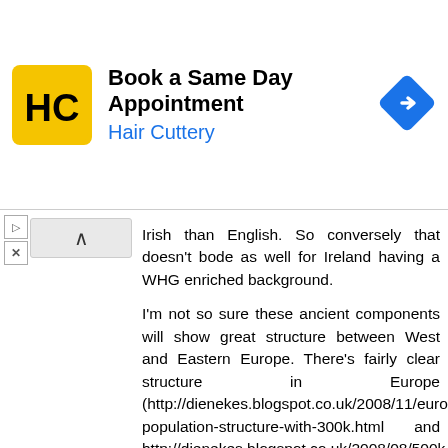[Figure (other): Hair Cuttery advertisement banner: HC logo on yellow background, text 'Book a Same Day Appointment' and 'Hair Cuttery' in blue, blue diamond navigation icon on right]
Irish than English. So conversely that doesn't bode as well for Ireland having a WHG enriched background.

I'm not so sure these ancient components will show great structure between West and Eastern Europe. There's fairly clear structure in Europe (http://dienekes.blogspot.co.uk/2008/11/european-population-structure-with-300k.html and http://dienekes.blogspot.co.uk/2008/08/500k-snp-europe-wide-study-of-genetic.html) and populations are quite separable along East-West axis but when you look at the different European populations projected onto ancient variation like - http://eurogenes.blogspot.co.uk/2016/08/ancient-vs-modern-day-west-eurasian.html - and estimated ancestry proportions then a lot more overlap. The genetic variations that create distinction between the modern populations